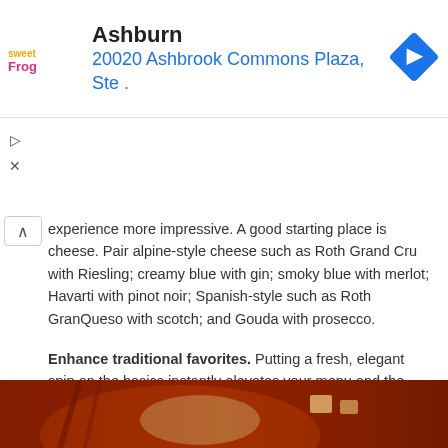[Figure (other): SweetFrog advertisement banner showing logo, location 'Ashburn', address '20020 Ashbrook Commons Plaza, Ste .' and a blue navigation arrow icon]
experience more impressive. A good starting place is cheese. Pair alpine-style cheese such as Roth Grand Cru with Riesling; creamy blue with gin; smoky blue with merlot; Havarti with pinot noir; Spanish-style such as Roth GranQueso with scotch; and Gouda with prosecco.
Enhance traditional favorites. Putting a fresh, elegant spin on the basics instantly elevates your menu and the overall experience for your guests. Even a staple like cheese can get some special dressing for the occasion. This recipe combines three rich, flavorful cheeses for a fondue that's sure to delight guests.
Explore more ideas for exceptional holiday entertaining at rothcheese.com.
[Figure (photo): Close-up photo of cheese fondue in a red dish with utensils]